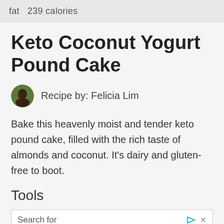fat  239 calories
Keto Coconut Yogurt Pound Cake
Recipe by: Felicia Lim
Bake this heavenly moist and tender keto pound cake, filled with the rich taste of almonds and coconut. It’s dairy and gluten-free to boot.
Tools
Search for
01  Keto Diet For Beginners
Parchment paper